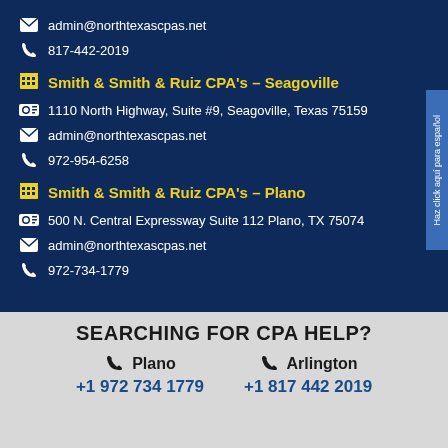admin@northtexascpas.net
817-442-2019
Smith & Smith & Ruiz CPA's – Seagoville
1110 North Highway, Suite #9, Seagoville, Texas 75159
admin@northtexascpas.net
972-954-6258
Smith & Smith & Ruiz CPA's – Plano
500 N. Central Expressway Suite 112 Plano, TX 75074
admin@northtexascpas.net
972-734-1779
SEARCHING FOR CPA HELP?
Plano +1 972 734 1779   Arlington +1 817 442 2019